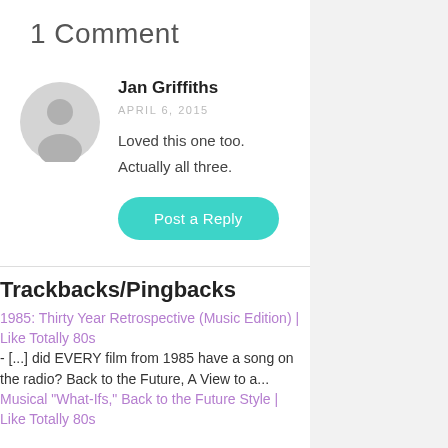1 Comment
Jan Griffiths
APRIL 6, 2015
Loved this one too. Actually all three.
Trackbacks/Pingbacks
1985: Thirty Year Retrospective (Music Edition) | Like Totally 80s - [...] did EVERY film from 1985 have a song on the radio? Back to the Future, A View to a...
Musical "What-Ifs," Back to the Future Style | Like Totally 80s - [...] Retrospective, Part...